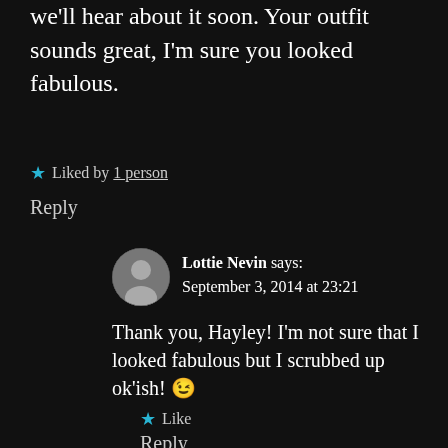we'll hear about it soon. Your outfit sounds great, I'm sure you looked fabulous.
★ Liked by 1 person
Reply
Lottie Nevin says: September 3, 2014 at 23:21
[Figure (photo): Round avatar photo of Lottie Nevin]
Thank you, Hayley! I'm not sure that I looked fabulous but I scrubbed up ok'ish! 😉
★ Like
Reply